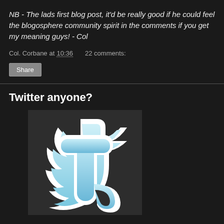NB - The lads first blog post, it'd be really good if he could feel the blogosphere community spirit in the comments if you get my meaning guys! - Col
Col. Corbane at 10:36   22 comments:
Share
Twitter anyone?
[Figure (logo): Twitter bird logo - stylized letter 't' in light blue with white outline on dark background]